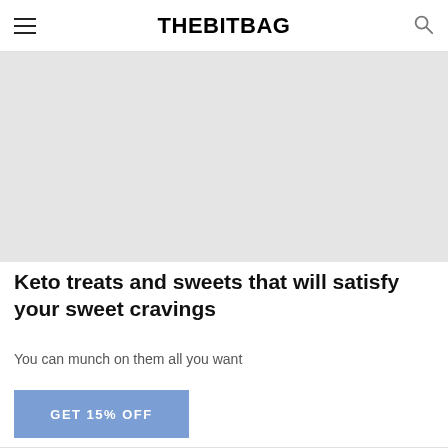THEBITBAG
[Figure (photo): Large placeholder/hero image with light gray background]
Keto treats and sweets that will satisfy your sweet cravings
You can munch on them all you want
GET 15% OFF